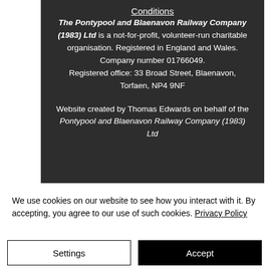Conditions
The Pontypool and Blaenavon Railway Company (1983) Ltd is a not-for-profit, volunteer-run charitable organisation. Registered in England and Wales. Company number 01766049. Registered office: 33 Broad Street, Blaenavon, Torfaen, NP4 9NF
Website created by Thomas Edwards on behalf of the Pontypool and Blaenavon Railway Company (1983) Ltd
We use cookies on our website to see how you interact with it. By accepting, you agree to our use of such cookies. Privacy Policy
Settings
Accept